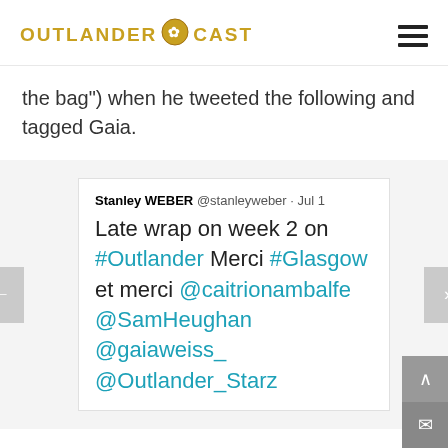OUTLANDER CAST
the bag") when he tweeted the following and tagged Gaia.
[Figure (screenshot): Embedded tweet from Stanley WEBER @stanleyweber · Jul 1 reading: Late wrap on week 2 on #Outlander Merci #Glasgow et merci @caitrionambalfe @SamHeughan @gaiaweiss_ @Outlander_Starz]
There was a fury of speculation after this about Gaia possibly playing Brianna Randall given Gaia's nearly 5'11 inch frame. However, fans